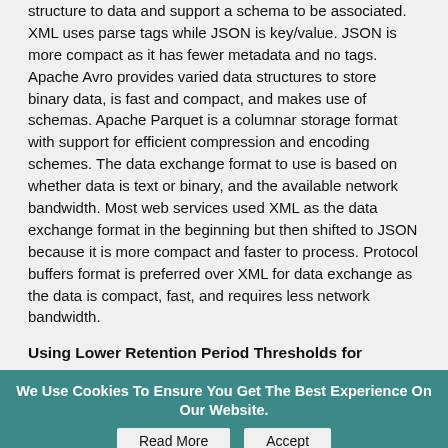structure to data and support a schema to be associated. XML uses parse tags while JSON is key/value. JSON is more compact as it has fewer metadata and no tags. Apache Avro provides varied data structures to store binary data, is fast and compact, and makes use of schemas. Apache Parquet is a columnar storage format with support for efficient compression and encoding schemes. The data exchange format to use is based on whether data is text or binary, and the available network bandwidth. Most web services used XML as the data exchange format in the beginning but then shifted to JSON because it is more compact and faster to process. Protocol buffers format is preferred over XML for data exchange as the data is compact, fast, and requires less network bandwidth.
Using Lower Retention Period Thresholds for Historical Data
A lot of data is of significance for a short duration, and a retention period is usually set for archiving historical or other data. As an example, Yahoo Mail deletes Spam folder messages after 30 days. Google Chrome browser stores browsing history for 90 days by default. Using lower thresholds for retaining historical and non-essential data reduces the quantity of data that needs to be stored.
Using a Different Storage Media for Archiving
Data to be archived does not have to be stored on the same node or machine on which data computation and analysis is performed. As an example, Apache Hadoop supports alternatives to the default DISK storage such as SSD
We Use Cookies To Ensure You Get The Best Experience On Our Website. Read More Accept